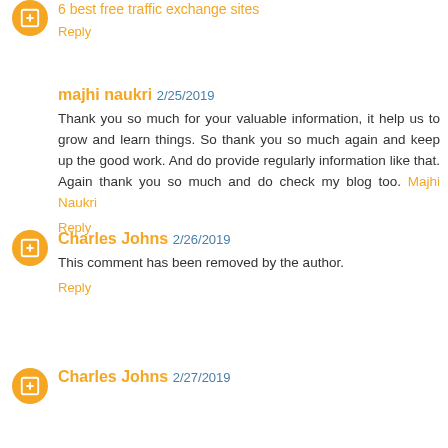6 best free traffic exchange sites
Reply
majhi naukri 2/25/2019
Thank you so much for your valuable information, it help us to grow and learn things. So thank you so much again and keep up the good work. And do provide regularly information like that. Again thank you so much and do check my blog too. Majhi Naukri
Reply
Charles Johns 2/26/2019
This comment has been removed by the author.
Reply
Charles Johns 2/27/2019